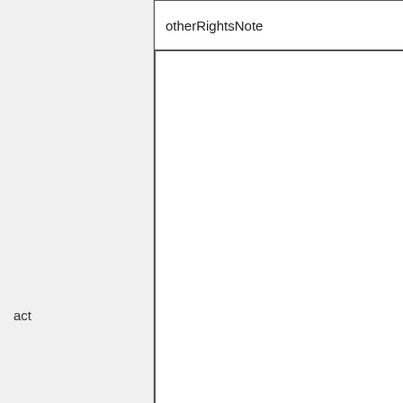| otherRightsNote |
| --- |
| act |